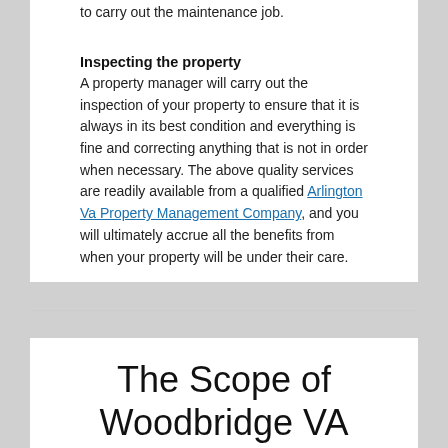to carry out the maintenance job.
Inspecting the property
A property manager will carry out the inspection of your property to ensure that it is always in its best condition and everything is fine and correcting anything that is not in order when necessary. The above quality services are readily available from a qualified Arlington Va Property Management Company, and you will ultimately accrue all the benefits from when your property will be under their care.
The Scope of Woodbridge VA Property Management Company's Many Services is